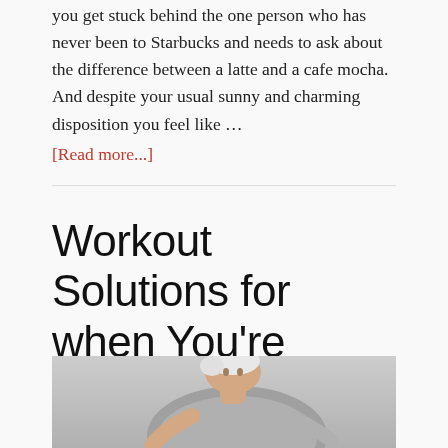you get stuck behind the one person who has never been to Starbucks and needs to ask about the difference between a latte and a cafe mocha. And despite your usual sunny and charming disposition you feel like …
[Read more...]
Workout Solutions for when You're Stuck at Home
March 13, 2020 By Pete McCall — 3 Comments
[Figure (photo): A man with white/grey hair wearing a grey t-shirt, leaning forward, photographed from above at an angle]